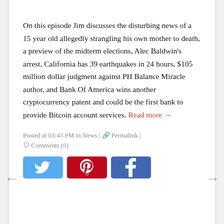On this episode Jim discusses the disturbing news of a 15 year old allegedly strangling his own mother to death, a preview of the midterm elections, Alec Baldwin's arrest, California has 39 earthquakes in 24 hours, $105 million dollar judgment against PH Balance Miracle author, and Bank Of America wins another cryptocurrency patent and could be the first bank to provide Bitcoin account services. Read more →
Posted at 03:43 PM in News | 🔗 Permalink | 💬 Comments (0)
[Figure (other): Three social media share buttons: Twitter (blue), Pinterest (red), Facebook (blue)]